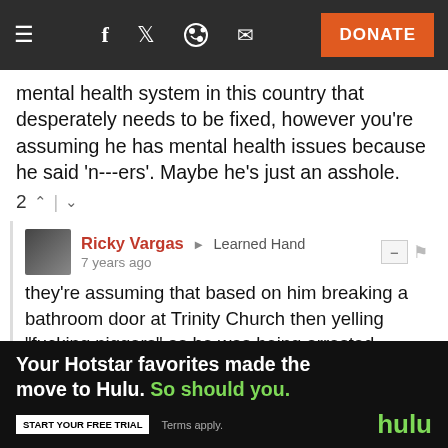[Figure (screenshot): Website navigation bar with hamburger menu, social icons (Facebook, Twitter, Reddit, Email), and orange DONATE button on dark background]
mental health system in this country that desperately needs to be fixed, however you're assuming he has mental health issues because he said 'n---ers'. Maybe he's just an asshole.
2 ^ | v (vote row)
Ricky Vargas → Learned Hand
7 years ago
they're assuming that based on him breaking a bathroom door at Trinity Church then yelling "fucking niggers" as he was being arrested. Maybe he's a rude, racist person, or maybe he has mental health issues. My opinion was that he was high on probably synthetic marijuana and that led him to breaking the door and yelling at the cops.
1 ^ | v (vote row)
JodeBlampette → Ricky Vargas
7 years ago
[Figure (screenshot): Hulu advertisement banner: 'Your Hotstar favorites made the move to Hulu. So should you.' with START YOUR FREE TRIAL button and Hulu logo]